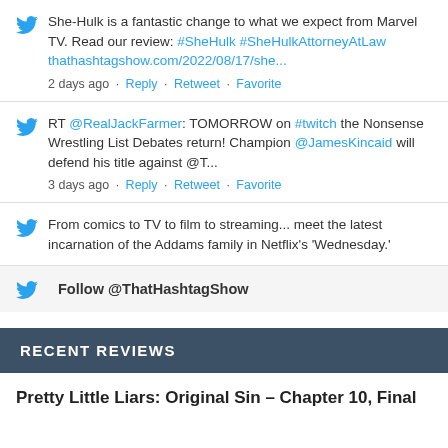She-Hulk is a fantastic change to what we expect from Marvel TV. Read our review: #SheHulk #SheHulkAttorneyAtLaw thathashtagshow.com/2022/08/17/she...
2 days ago · Reply · Retweet · Favorite
RT @RealJackFarmer: TOMORROW on #twitch the Nonsense Wrestling List Debates return! Champion @JamesKincaid will defend his title against @T...
3 days ago · Reply · Retweet · Favorite
From comics to TV to film to streaming... meet the latest incarnation of the Addams family in Netflix's 'Wednesday.'
Follow @ThatHashtagShow
RECENT REVIEWS
Pretty Little Liars: Original Sin – Chapter 10, Final